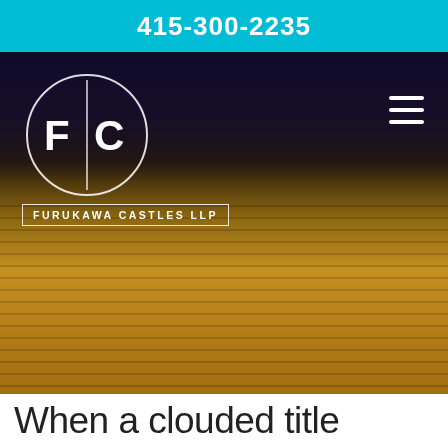415-300-2235
[Figure (screenshot): Law firm website hero section showing a person in a yellow sweater in a dark setting, with the Furukawa Castles LLP circular logo in the top left and a hamburger menu icon in the top right]
When a clouded title